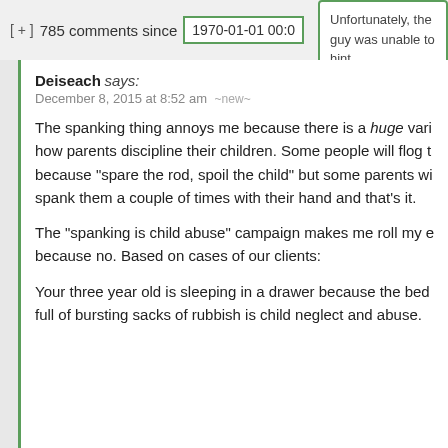[ + ]  785 comments since  1970-01-01 00:0
Unfortunately, the guy was unable to hint.
Hide ↑
Deiseach says:
December 8, 2015 at 8:52 am ~new~
The spanking thing annoys me because there is a huge vari how parents discipline their children. Some people will flog t because "spare the rod, spoil the child" but some parents wi spank them a couple of times with their hand and that's it.
The "spanking is child abuse" campaign makes me roll my e because no. Based on cases of our clients:
Your three year old is sleeping in a drawer because the bed full of bursting sacks of rubbish is child neglect and abuse.